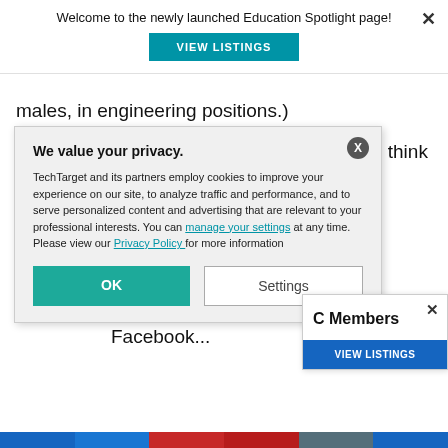Welcome to the newly launched Education Spotlight page!
VIEW LISTINGS
males, in engineering positions.)
What is surprising though, is that you would think these ... relate to the ... males see the ... featured, than
... g for job ads ... Facebook...
We value your privacy. TechTarget and its partners employ cookies to improve your experience on our site, to analyze traffic and performance, and to serve personalized content and advertising that are relevant to your professional interests. You can manage your settings at any time. Please view our Privacy Policy for more information
OK
Settings
C Members